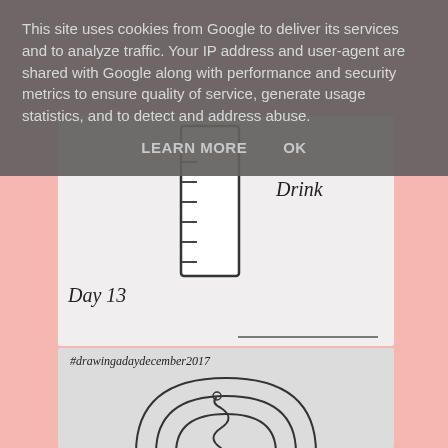This site uses cookies from Google to deliver its services and to analyze traffic. Your IP address and user-agent are shared with Google along with performance and security metrics to ensure quality of service, generate usage statistics, and to detect and address abuse.
LEARN MORE   OK
[Figure (illustration): Hand-drawn illustration of a measuring cup/beaker with tick marks on the side, labeled 'Drink' and 'Day 13' written in handwriting style on a light background]
[Figure (illustration): Hand-drawn illustration with hashtag #drawingadaydecember2017 and a snake coiled inside concentric arches on a gray background]